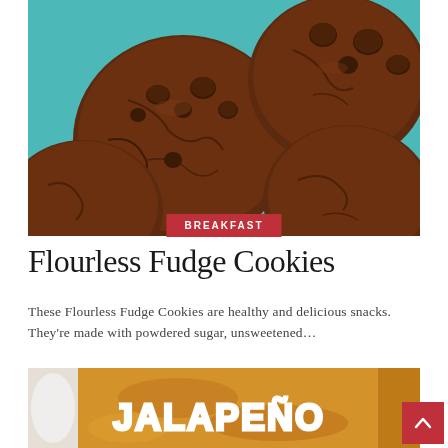[Figure (photo): Close-up photo of flourless fudge cookies with chocolate chips on a teal background]
BREAKFAST
Flourless Fudge Cookies
These Flourless Fudge Cookies are healthy and delicious snacks. They're made with powdered sugar, unsweetened…
[Figure (photo): Partial photo of jalapeño dish with text overlay reading JALAPEÑO]